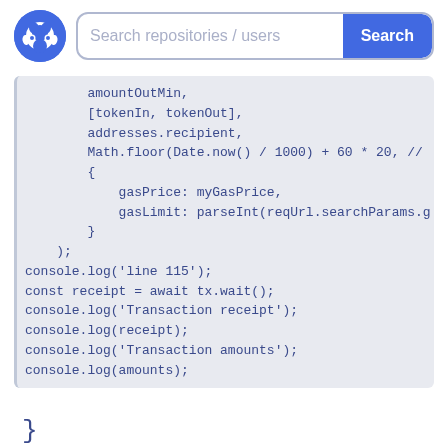[Figure (screenshot): GitHub logo — white cat/octocat icon on blue circle background]
Search repositories / users
Search
amountOutMin,
        [tokenIn, tokenOut],
        addresses.recipient,
        Math.floor(Date.now() / 1000) + 60 * 20, //
        {
            gasPrice: myGasPrice,
            gasLimit: parseInt(reqUrl.searchParams.g
        }
    );
console.log('line 115');
const receipt = await tx.wait();
console.log('Transaction receipt');
console.log(receipt);
console.log('Transaction amounts');
console.log(amounts);
}